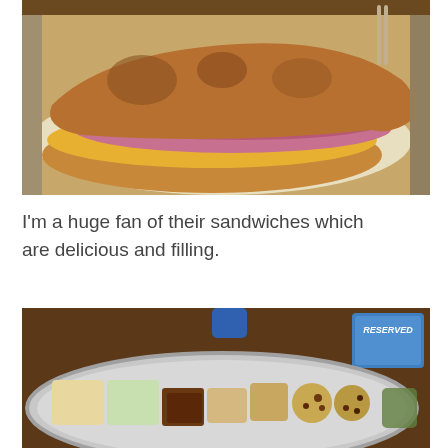[Figure (photo): A toasted ham and cheese sandwich on a metal tray lined with white paper, showing layers of ham, melted cheese, and other fillings between golden-brown toasted bread slices.]
I'm a huge fan of their sandwiches which are delicious and filling.
[Figure (photo): A round metal catering tray on a wooden table with assorted food items including small sandwiches, brownie squares, cookies, and other baked goods. A blue cup and a 'Reserved' sign are visible in the background.]